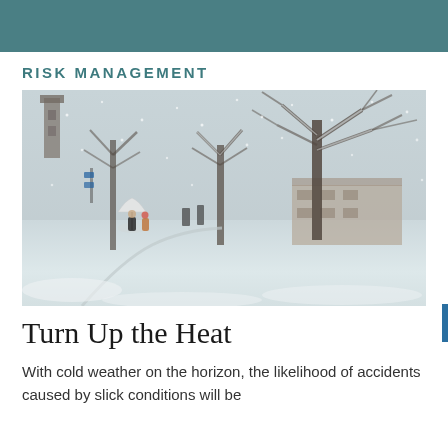RISK MANAGEMENT
[Figure (photo): Two people walking with an umbrella through a snow-covered park or city square during heavy snowfall. Bare snow-laden trees, a clock tower or church tower in the background left, and a historic building visible at right. The scene is overcast and wintry.]
Turn Up the Heat
With cold weather on the horizon, the likelihood of accidents caused by slick conditions will be